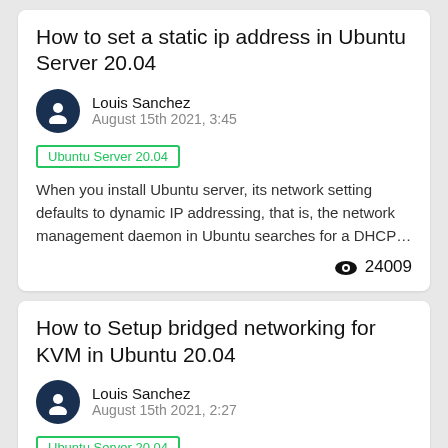How to set a static ip address in Ubuntu Server 20.04
Louis Sanchez
August 15th 2021, 3:45
Ubuntu Server 20.04
When you install Ubuntu server, its network setting defaults to dynamic IP addressing, that is, the network management daemon in Ubuntu searches for a DHCP...
24009
How to Setup bridged networking for KVM in Ubuntu 20.04
Louis Sanchez
August 15th 2021, 2:27
Ubuntu Server 20.04